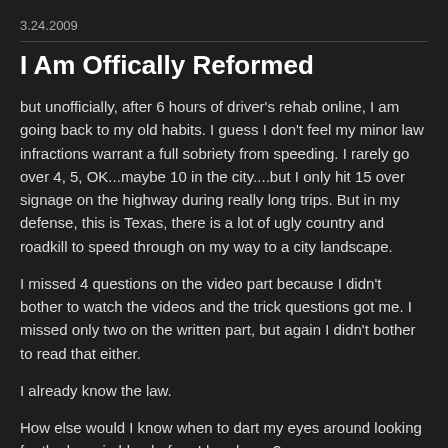3.24.2009
I Am Offically Reformed
but unofficially, after 6 hours of driver's rehab online, I am going back to my old habits. I guess I don't feel my minor law infractions warrant a full sobriety from speeding. I rarely go over 4, 5, OK...maybe 10 in the city....but I only hit 15 over signage on the highway during really long trips. But in my defense, this is Texas, there is a lot of ugly country and roadkill to speed through on my way to a city landscape.
I missed 4 questions on the video part because I didn't bother to watch the videos and the trick questions got me. I missed only two on the written part, but again I didn't bother to read that either.
I already know the law.
How else would I know when to dart my eyes around looking for the boys in blue before I break one?